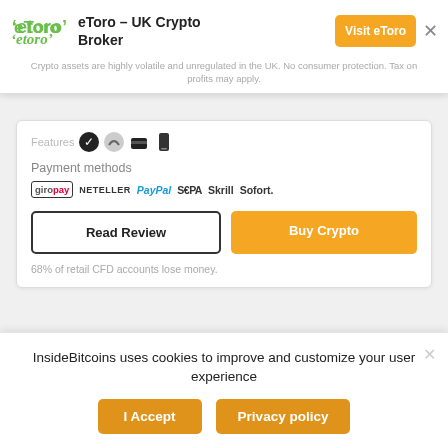[Figure (logo): eToro green logo with antenna icon]
eToro – UK Crypto Broker
Crypto assets are highly volatile and unregulated in the UK. No consumer protection. Tax on profits may apply.
[Figure (infographic): Payment method logos: giropay, NETELLER, PayPal, SEPA, Skrill, Sofort.]
Payment methods
Read Review
Buy Crypto
68% of retail CFD accounts lose money.
Load more +
InsideBitcoins uses cookies to improve and customize your user experience
I Accept
Privacy policy